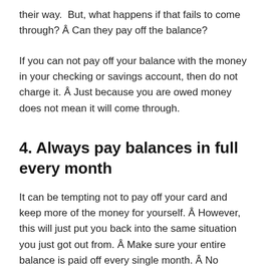their way.  But, what happens if that fails to come through?  Can they pay off the balance?
If you can not pay off your balance with the money in your checking or savings account, then do not charge it.  Just because you are owed money does not mean it will come through.
4. Always pay balances in full every month
It can be tempting not to pay off your card and keep more of the money for yourself.  However, this will just put you back into the same situation you just got out from.  Make sure your entire balance is paid off every single month.  No exceptions.